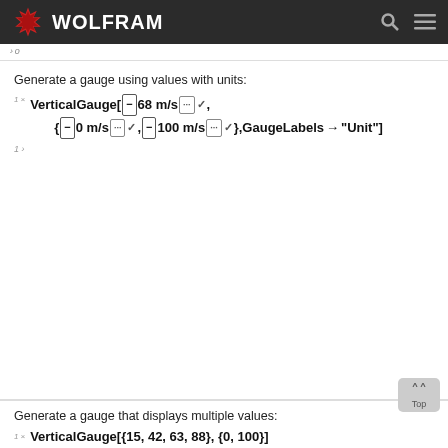[Figure (logo): Wolfram logo with red snowflake icon and white WOLFRAM text on dark background, with search and menu icons]
Generate a gauge using values with units:
VerticalGauge[⊟ 68 m/s ··· ✓, {⊟ 0 m/s ··· ✓, ⊟ 100 m/s ··· ✓}, GaugeLabels → "Unit"]
Generate a gauge that displays multiple values:
VerticalGauge[{15, 42, 63, 88}, {0, 100}]